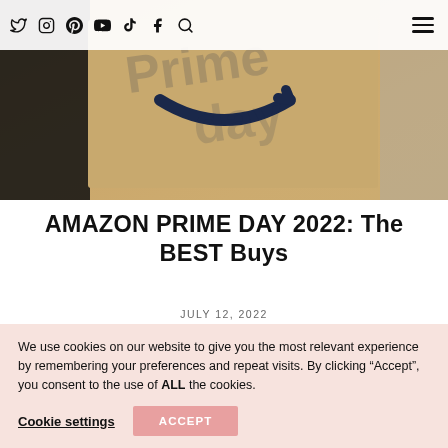Social media icons: Twitter, Instagram, Pinterest, YouTube, TikTok, Facebook, Search; Hamburger menu
[Figure (photo): Amazon Prime Day branded shipping box held by a person, with 'Prime day' text overlay in background]
AMAZON PRIME DAY 2022: The BEST Buys
JULY 12, 2022
[Figure (photo): Partial image showing a blonde person in front of a yellow and black background, partially obscured by cookie banner]
We use cookies on our website to give you the most relevant experience by remembering your preferences and repeat visits. By clicking “Accept”, you consent to the use of ALL the cookies.
Cookie settings   ACCEPT